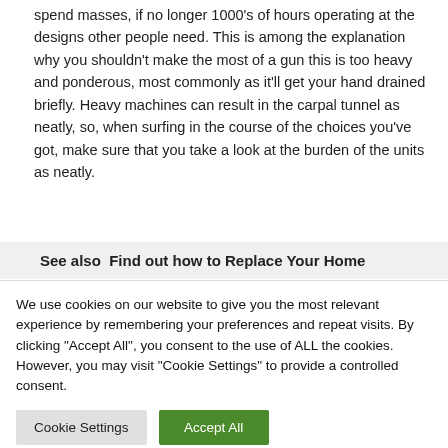spend masses, if no longer 1000's of hours operating at the designs other people need. This is among the explanation why you shouldn't make the most of a gun this is too heavy and ponderous, most commonly as it'll get your hand drained briefly. Heavy machines can result in the carpal tunnel as neatly, so, when surfing in the course of the choices you've got, make sure that you take a look at the burden of the units as neatly.
See also  Find out how to Replace Your Home
We use cookies on our website to give you the most relevant experience by remembering your preferences and repeat visits. By clicking "Accept All", you consent to the use of ALL the cookies. However, you may visit "Cookie Settings" to provide a controlled consent.